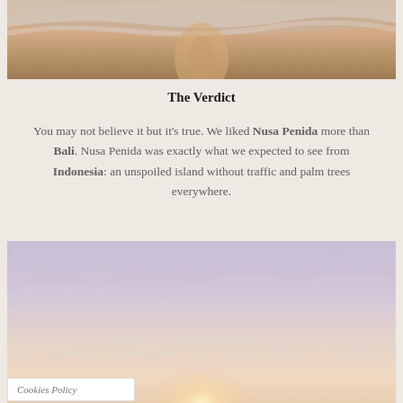[Figure (photo): Top portion of a beach scene showing wet sand and ocean waves with warm golden-pink light]
The Verdict
You may not believe it but it's true. We liked Nusa Penida more than Bali. Nusa Penida was exactly what we expected to see from Indonesia: an unspoiled island without traffic and palm trees everywhere.
[Figure (photo): Dramatic sunset sky with clouds lit in soft pink and lavender hues over a calm horizon]
Cookies Policy